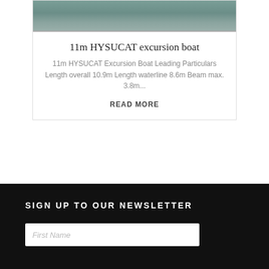[Figure (photo): Partial image of a boat on water, showing waves, cut off at top of card]
11m HYSUCAT excursion boat
11m HYSUCAT Excursion Boat Leading Particulars Length overall 10.9m Length waterline 8.6m Beam max. 3.8m...
READ MORE
SIGN UP TO OUR NEWSLETTER